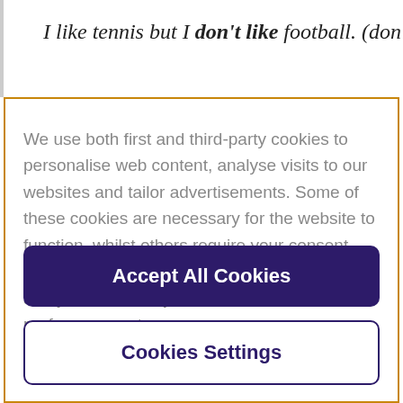I like tennis but I don't like football. (don't =
We use both first and third-party cookies to personalise web content, analyse visits to our websites and tailor advertisements. Some of these cookies are necessary for the website to function, whilst others require your consent. More detail can be found in our cookie policy and you can tailor your choices in the preference centre.
Accept All Cookies
Cookies Settings